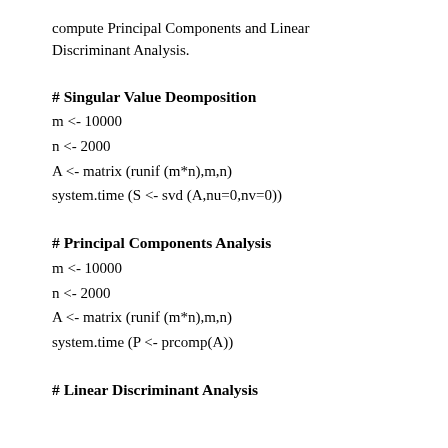compute Principal Components and Linear Discriminant Analysis.
# Singular Value Deomposition
m <- 10000
n <- 2000
A <- matrix (runif (m*n),m,n)
system.time (S <- svd (A,nu=0,nv=0))
# Principal Components Analysis
m <- 10000
n <- 2000
A <- matrix (runif (m*n),m,n)
system.time (P <- prcomp(A))
# Linear Discriminant Analysis